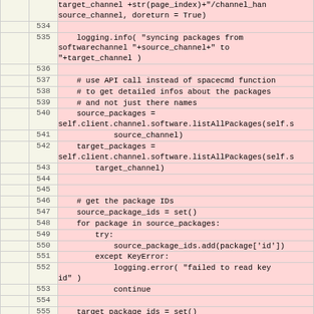[Figure (screenshot): Code diff/viewer showing Python source code lines 534-559 with line numbers on left (beige background) and code on right (pink/red background indicating deletions or changes). Code shows channel sync logic including logging, source/target package listing, and package ID collection with error handling.]